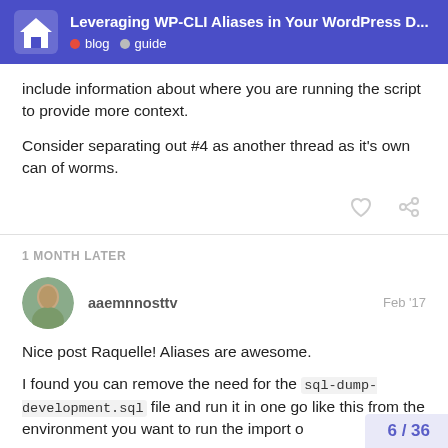Leveraging WP-CLI Aliases in Your WordPress D... blog guide
include information about where you are running the script to provide more context.
Consider separating out #4 as another thread as it's own can of worms.
1 MONTH LATER
aaemnnosttv Feb '17
Nice post Raquelle! Aliases are awesome.
I found you can remove the need for the sql-dump-development.sql file and run it in one go like this from the environment you want to run the import o
6 / 36